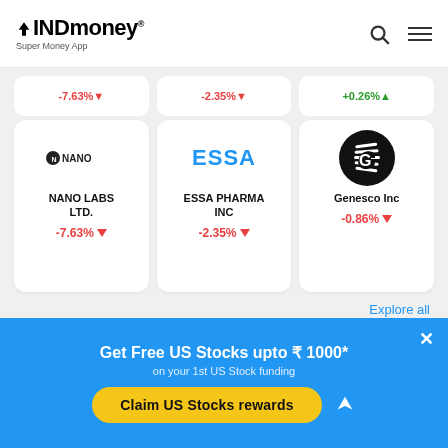INDmoney® Super Money App
[Figure (logo): INDmoney Super Money App logo with upward arrow]
-7.63%▼ | -2.35%▼ | +0.26%▲ (partial top cards)
[Figure (logo): NANO LABS LTD. company logo - N NANO wordmark]
NANO LABS LTD.
-7.63%▼
[Figure (logo): ESSA PHARMA INC blue text logo]
ESSA PHARMA INC
-2.35%▼
[Figure (logo): Genesco Inc G logo]
Genesco Inc
-0.86%▼
Explore all
Get Free US Stocks upto ₹ 1000*
on your 1st US Stock funding
Claim US Stocks rewards